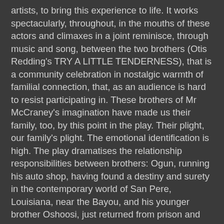artists, to bring this experience to life. It works spectacularly, throughout, in the mouths of these actors and climaxes in a joint reminisce, through music and song, between the two brothers (Otis Redding's TRY A LITTLE TENDERNESS), that is a community celebration in nostalgic warmth of familial connection, that, as an audience is hard to resist participating in. These brothers of Mr McCraney's imagination have made us their family, too, by this point in the play. Their plight, our family's plight. The emotional identification is high. The play dramatises the relationship responsibilities between brothers: Ogun, running his auto shop, having found a destiny and surety in the contemporary world of San Pere, Louisiana, near the Bayou, and his younger brother Oshoosi, just returned from prison and with a predilection for trouble. The world, events and relationships of this play by Mr McCraney become subtly of our time and place but atmospherically of an ancestral tribal inheritance. The Yoruba culture of West Africa, Nigeria, is reflected in the names of the characters and the music of the score and the haunting sound design by Caitlin Porter. An embracement of another universe is possible with resonances for our own Australian lives.